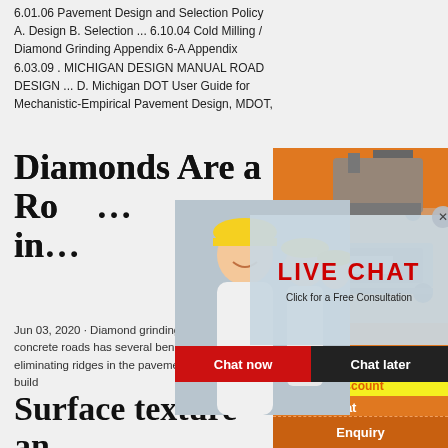6.01.06 Pavement Design and Selection Policy A. Design B. Selection ... 6.10.04 Cold Milling / Diamond Grinding Appendix 6-A Appendix 6.03.09 . MICHIGAN DESIGN MANUAL ROAD DESIGN ... D. Michigan DOT User Guide for Mechanistic-Empirical Pavement Design, MDOT,
Diamonds Are a Road's Best Friend in...
[Figure (photo): Live chat overlay with construction workers in yellow hard hats, large red LIVE CHAT text, 'Click for a Free Consultation' subtitle, Chat now and Chat later buttons]
[Figure (infographic): Orange advertisement panel on right side showing heavy machinery (crushers/industrial equipment), with 'Enjoy 3% discount', 'Click to Chat', 'Enquiry', and limingjlmofen@sina.com contact details]
Jun 03, 2020 · Diamond grinding the surface of concrete roads has several benefits, including eliminating ridges in the pavement, where water can build
Surface texture and friction